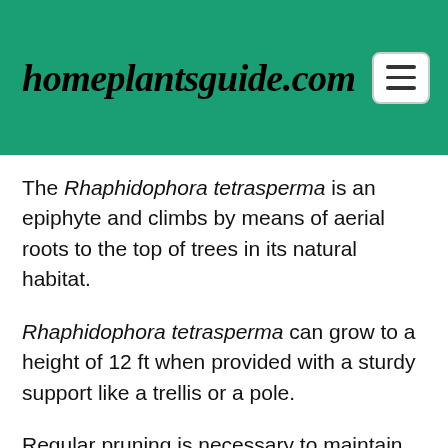homeplantsguide.com
The Rhaphidophora tetrasperma is an epiphyte and climbs by means of aerial roots to the top of trees in its natural habitat.
Rhaphidophora tetrasperma can grow to a height of 12 ft when provided with a sturdy support like a trellis or a pole.
Regular pruning is necessary to maintain Rhaphidophora tetrasperma at a manageable size.